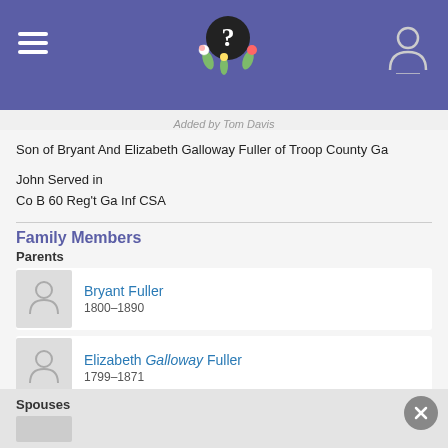Added by Tom Davis
Son of Bryant And Elizabeth Galloway Fuller of Troop County Ga
John Served in
Co B 60 Reg't Ga Inf CSA
Family Members
Parents
Bryant Fuller
1800–1890
Elizabeth Galloway Fuller
1799–1871
Spouses